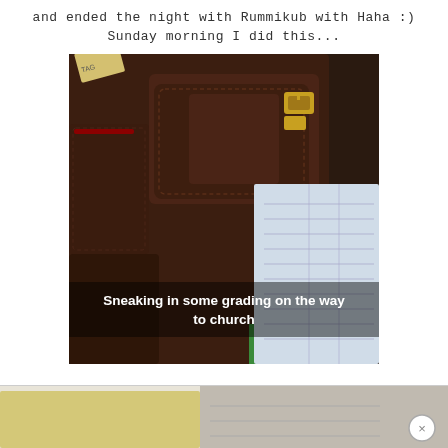and ended the night with Rummikub with Haha :)
Sunday morning I did this...
[Figure (photo): Photo of a dark brown leather bag/satchel next to papers/worksheets, with white text overlay reading 'Sneaking in some grading on the way to church']
[Figure (photo): Partial bottom strip showing another photo (advertisement or next image) with a close/X button in bottom right]